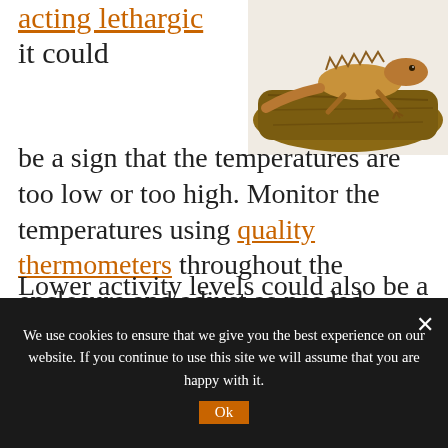acting lethargic it could be a sign that the temperatures are too low or too high. Monitor the temperatures using quality thermometers throughout the enclosure and adjust as needed.
[Figure (photo): A lizard (bearded dragon) sitting on a piece of driftwood or bark, photographed against a white background.]
Lower activity levels could also be a sign of brumation, if it is during the fall and winter
We use cookies to ensure that we give you the best experience on our website. If you continue to use this site we will assume that you are happy with it.
Ok